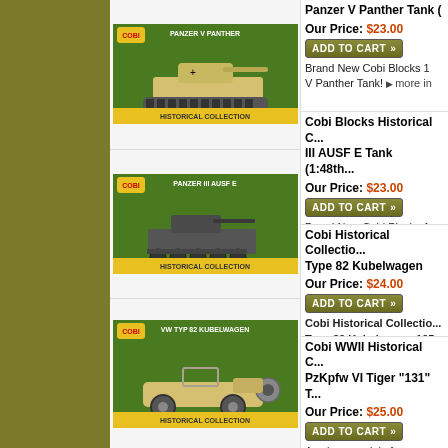Panzer V Panther Tank (
Our Price: $23.00
Brand New Cobi Blocks 1... V Panther Tank! more in...
Cobi Blocks Historical C... III AUSF E Tank (1:48th...
Our Price: $23.00
Brand New Cobi Blocks 1... III Ausf E Tank! more in...
Cobi Historical Collectio... Type 82 Kubelwagen
Our Price: $24.00
Cobi Historical Collectio... Type 82 Kubelwagen 195... more info
Cobi WWII Historical C... PzKpfw VI Tiger "131" T...
Our Price: $25.00
A unique model of a very n... still operational tank, the P... number 131 was seized du... by the British and is now B... biggest attraction at the tan...
The Cobi blocks Tiger 131...